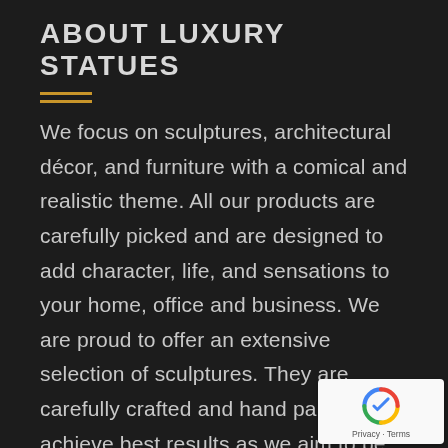ABOUT LUXURY STATUES
We focus on sculptures, architectural décor, and furniture with a comical and realistic theme. All our products are carefully picked and are designed to add character, life, and sensations to your home, office and business. We are proud to offer an extensive selection of sculptures. They are carefully crafted and hand painted to achieve best results as we aim to be relevant